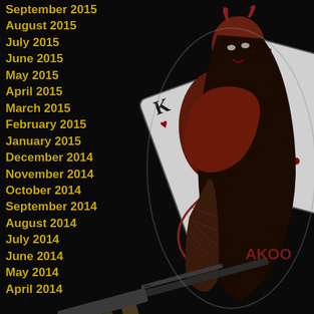[Figure (illustration): Dark illustrated tattoo-style artwork featuring a female devil character with horns, holding playing cards (King of Hearts, 4 of Clubs) and an AK-style rifle, wearing fishnet stockings, with a tail. Black background with gray outline. Text 'AKOO' visible on right side.]
September 2015
August 2015
July 2015
June 2015
May 2015
April 2015
March 2015
February 2015
January 2015
December 2014
November 2014
October 2014
September 2014
August 2014
July 2014
June 2014
May 2014
April 2014